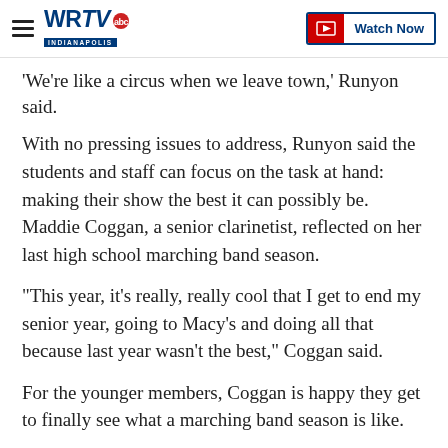WRTV Indianapolis | Watch Now
'We're like a circus when we leave town,' Runyon said.
With no pressing issues to address, Runyon said the students and staff can focus on the task at hand: making their show the best it can possibly be. Maddie Coggan, a senior clarinetist, reflected on her last high school marching band season.
"This year, it's really, really cool that I get to end my senior year, going to Macy's and doing all that because last year wasn't the best," Coggan said.
For the younger members, Coggan is happy they get to finally see what a marching band season is like.
"We have a lot of people who are inexperienced,